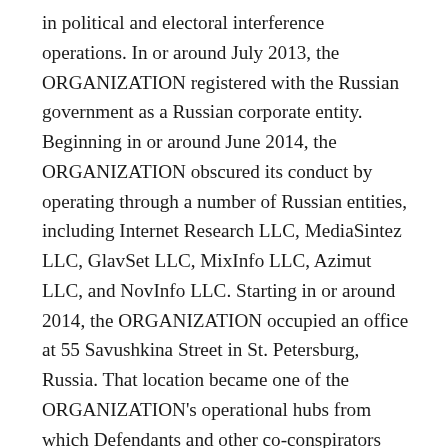in political and electoral interference operations. In or around July 2013, the ORGANIZATION registered with the Russian government as a Russian corporate entity. Beginning in or around June 2014, the ORGANIZATION obscured its conduct by operating through a number of Russian entities, including Internet Research LLC, MediaSintez LLC, GlavSet LLC, MixInfo LLC, Azimut LLC, and NovInfo LLC. Starting in or around 2014, the ORGANIZATION occupied an office at 55 Savushkina Street in St. Petersburg, Russia. That location became one of the ORGANIZATION's operational hubs from which Defendants and other co-conspirators carried out their activities to interfere in the U.S. political